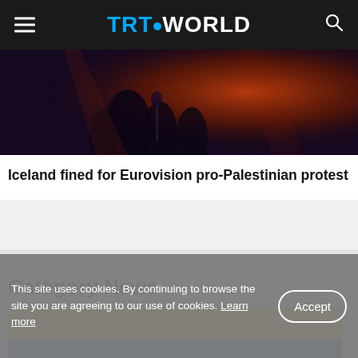TRT WORLD
[Figure (photo): Dark concert or performance scene with orange/red lighting and silhouetted figures]
Iceland fined for Eurovision pro-Palestinian protest
Category News
[Figure (photo): Ukrainian flag with yellow and blue colors]
This site uses cookies. By continuing to browse the site you are agreeing to our use of cookies. Learn more